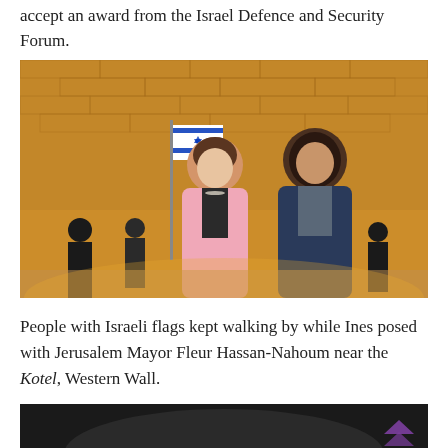accept an award from the Israel Defence and Security Forum.
[Figure (photo): Two women posing together in front of the Western Wall (Kotel) in Jerusalem at night. The woman on the left wears a pink blazer, and the woman on the right wears a dark navy blazer with a patterned top. An Israeli flag is visible in the background, along with other people in the plaza.]
People with Israeli flags kept walking by while Ines posed with Jerusalem Mayor Fleur Hassan-Nahoum near the Kotel, Western Wall.
[Figure (photo): Partial photo visible at bottom of page, dark in tone, with a purple chevron/arrow icon overlaid in the lower right.]